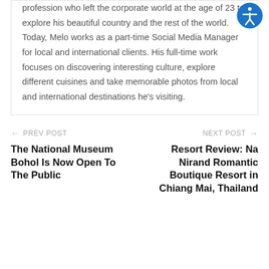profession who left the corporate world at the age of 23 to explore his beautiful country and the rest of the world. Today, Melo works as a part-time Social Media Manager for local and international clients. His full-time work focuses on discovering interesting culture, explore different cuisines and take memorable photos from local and international destinations he's visiting.
← PREV POST
NEXT POST →
The National Museum Bohol Is Now Open To The Public
Resort Review: Na Nirand Romantic Boutique Resort in Chiang Mai, Thailand